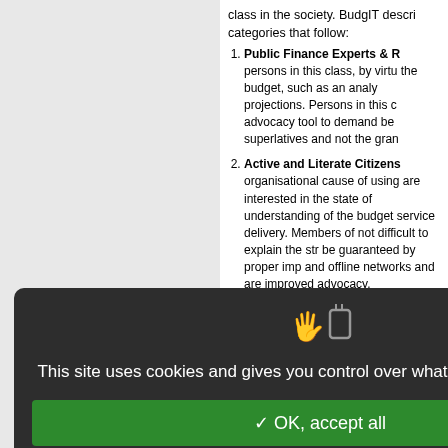class in the society. BudgIT describes categories that follow:
Public Finance Experts & R... persons in this class, by virtue of the budget, such as an analysis projections. Persons in this class advocacy tool to demand be... superlatives and not the gran...
Active and Literate Citizens... organisational cause of using are interested in the state of understanding of the budget service delivery. Members of not difficult to explain the str... be guaranteed by proper imp... and offline networks and are improved advocacy.
The Inactive Literate Citize... governance, classifying gove... benefits to the citizen. Althou... understand the budget, they data simulation, to appreciato...
[Figure (screenshot): Cookie consent modal with dark background showing icons, text 'This site uses cookies and gives you control over what you want to activate', green OK button, red Deny button, white Personalize button, and Privacy policy link.]